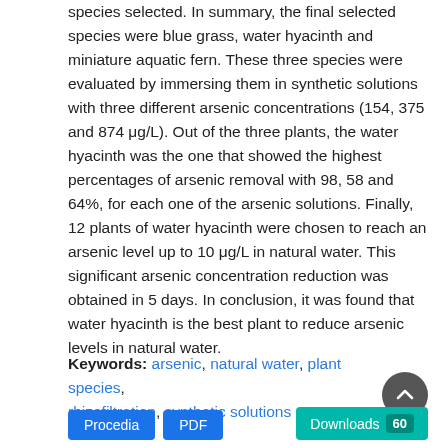species selected. In summary, the final selected species were blue grass, water hyacinth and miniature aquatic fern. These three species were evaluated by immersing them in synthetic solutions with three different arsenic concentrations (154, 375 and 874 μg/L). Out of the three plants, the water hyacinth was the one that showed the highest percentages of arsenic removal with 98, 58 and 64%, for each one of the arsenic solutions. Finally, 12 plants of water hyacinth were chosen to reach an arsenic level up to 10 μg/L in natural water. This significant arsenic concentration reduction was obtained in 5 days. In conclusion, it was found that water hyacinth is the best plant to reduce arsenic levels in natural water.
Keywords: arsenic, natural water, plant species, rhizofiltration, synthetic solutions